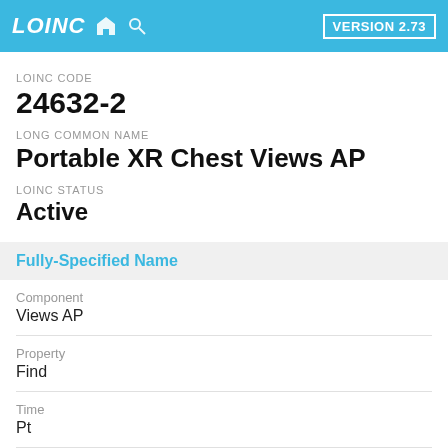LOINC  VERSION 2.73
LOINC CODE
24632-2
LONG COMMON NAME
Portable XR Chest Views AP
LOINC STATUS
Active
Fully-Specified Name
Component
Views AP
Property
Find
Time
Pt